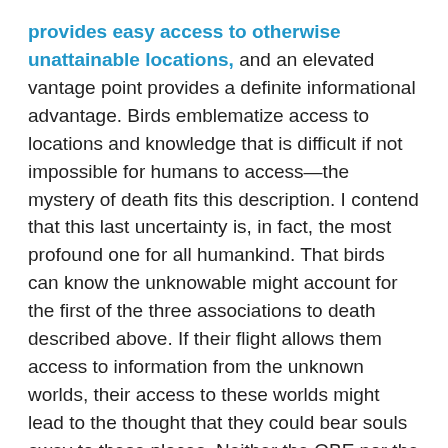provides easy access to otherwise unattainable locations, and an elevated vantage point provides a definite informational advantage. Birds emblematize access to locations and knowledge that is difficult if not impossible for humans to access—the mystery of death fits this description. I contend that this last uncertainty is, in fact, the most profound one for all humankind. That birds can know the unknowable might account for the first of the three associations to death described above. If their flight allows them access to information from the unknown worlds, their access to these worlds might lead to the thought that they could bear souls away to these places. Neither the OBE nor the shaman's flight involves being carried by a bird, however, so the connection remains symbolic. To make the leap of assuming that the soul becomes a bird, one must accept it only as a metaphor for